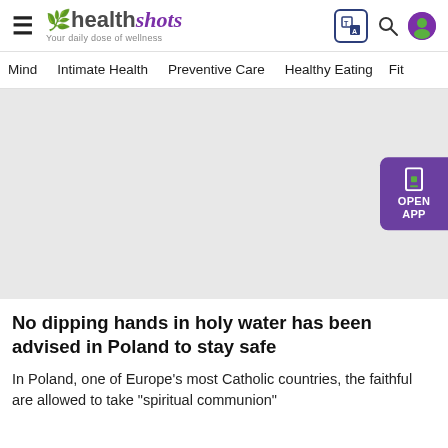healthshots — Your daily dose of wellness
Mind  Intimate Health  Preventive Care  Healthy Eating  Fit
[Figure (photo): Large grey placeholder image for article, with purple 'OPEN APP' button on the right side]
No dipping hands in holy water has been advised in Poland to stay safe
In Poland, one of Europe's most Catholic countries, the faithful are allowed to take "spiritual communion"